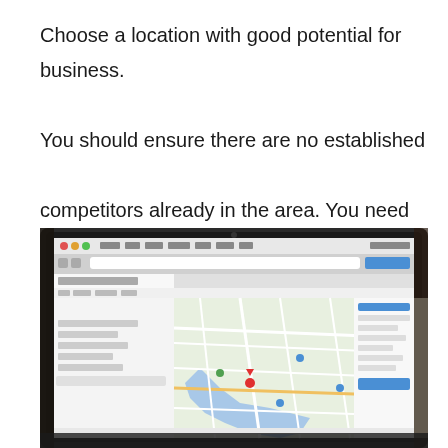Choose a location with good potential for business. You should ensure there are no established competitors already in the area. You need to build your clientele without having to struggle to steal some from your competitors.
[Figure (photo): A laptop displaying a map application (resembling Google Maps with business listings), photographed from an angle on a desk, with blurred background elements including books and a coffee cup.]